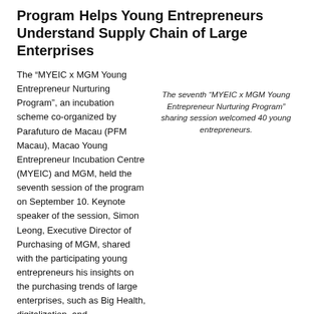Program Helps Young Entrepreneurs Understand Supply Chain of Large Enterprises
The “MYEIC x MGM Young Entrepreneur Nurturing Program”, an incubation scheme co-organized by Parafuturo de Macau (PFM Macau), Macao Young Entrepreneur Incubation Centre (MYEIC) and MGM, held the seventh session of the program on September 10. Keynote speaker of the session, Simon Leong, Executive Director of Purchasing of MGM, shared with the participating young entrepreneurs his insights on the purchasing trends of large enterprises, such as Big Health, digitalization, and environmental-friendly initiatives. It was to encourage the entrepreneurs to get an in-depth understanding on the needs of their targeted enterprises and succeed with flexibility and innovation.
The seventh “MYEIC x MGM Young Entrepreneur Nurturing Program” sharing session welcomed 40 young entrepreneurs.
Coming to its seventh session, the “MYEIC x MGM Young Entrepreneur Nurturing Program” was officially kicked off in June 2020. The Program includes a series of mentoring sessions on